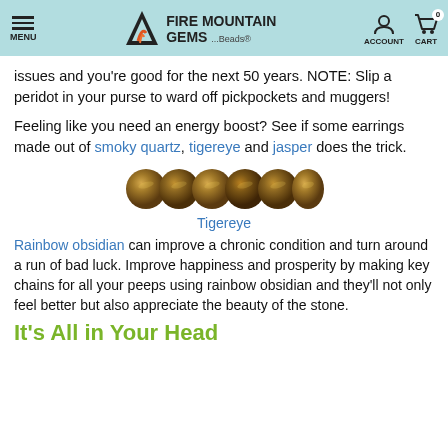MENU | FIRE MOUNTAIN GEMS ...Beads® | ACCOUNT | CART 0
issues and you're good for the next 50 years. NOTE: Slip a peridot in your purse to ward off pickpockets and muggers!
Feeling like you need an energy boost? See if some earrings made out of smoky quartz, tigereye and jasper does the trick.
[Figure (photo): Row of tigereye gemstone beads, golden-brown with chatoyant sheen]
Tigereye
Rainbow obsidian can improve a chronic condition and turn around a run of bad luck. Improve happiness and prosperity by making key chains for all your peeps using rainbow obsidian and they'll not only feel better but also appreciate the beauty of the stone.
It's All in Your Head